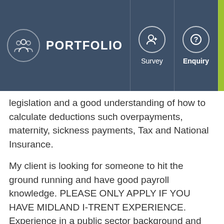PORTFOLIO | Survey | Enquiry | Menu
legislation and a good understanding of how to calculate deductions such overpayments, maternity, sickness payments, Tax and National Insurance.
My client is looking for someone to hit the ground running and have good payroll knowledge. PLEASE ONLY APPLY IF YOU HAVE MIDLAND I-TRENT EXPERIENCE. Experience in a public sector background and Midland I-Trent knowledge is essential!
In reward for your skills you will join an established team with a wealth of knowledge within a fantastic company that is highly regarded in the area. If you are looking for work and have the payroll skills detailed above then then we want to hear from you!